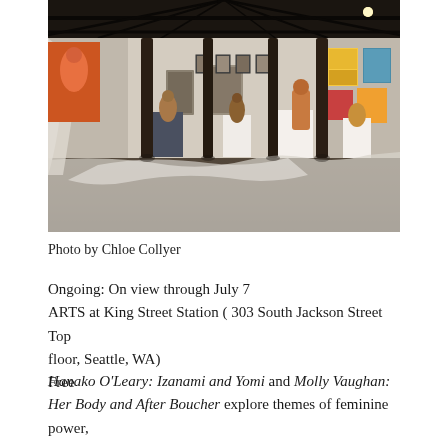[Figure (photo): Interior of an art gallery space with dark ceiling beams, sculptures on white pedestals, framed artworks on white walls including colorful paintings, and a white fabric installation on the floor. The space has a warm industrial feel.]
Photo by Chloe Collyer
Ongoing: On view through July 7
ARTS at King Street Station ( 303 South Jackson Street Top floor, Seattle, WA)
Free
Hanako O'Leary: Izanami and Yomi and Molly Vaughan: Her Body and After Boucher explore themes of feminine power,